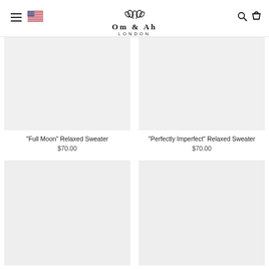Om & Ah London
'Full Moon' Relaxed Sweater $70.00
'Perfectly Imperfect' Relaxed Sweater $70.00
[Figure (photo): Product image placeholder - bottom left sweater]
[Figure (photo): Product image placeholder - bottom right sweater]